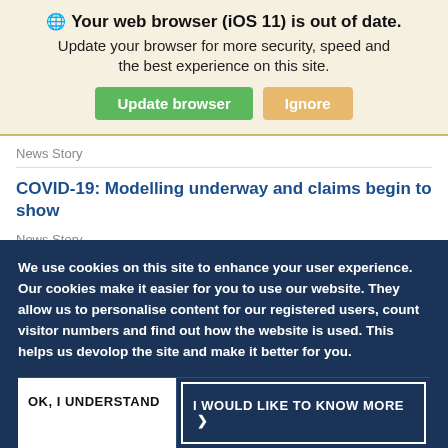🌐 Your web browser (iOS 11) is out of date. Update your browser for more security, speed and the best experience on this site. [Update browser] [Ignore]
News Story
COVID-19: Modelling underway and claims begin to show
News Story
COVID-19: Role of the risk professional
We use cookies on this site to enhance your user experience. Our cookies make it easier for you to use our website. They allow us to personalise content for our registered users, count visitor numbers and find out how the website is used. This helps us devolop the site and make it better for you.